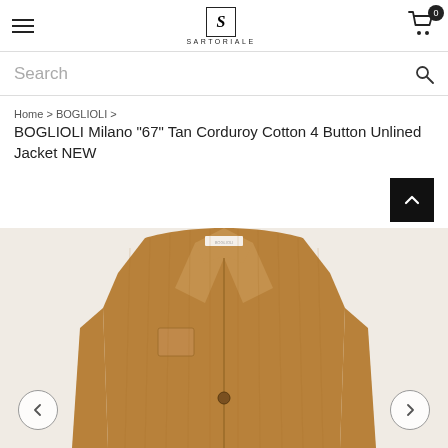SARTORIALE — navigation header with hamburger menu, logo, and cart icon (0 items)
Search
Home > BOGLIOLI >
BOGLIOLI Milano "67" Tan Corduroy Cotton 4 Button Unlined Jacket NEW
[Figure (photo): Tan/camel corduroy cotton blazer jacket displayed on an invisible mannequin against a light beige/off-white background. The jacket features a notch lapel, one breast pocket, four-button front closure, and long sleeves. The jacket is shown from the front, cropped at mid-torso area showing collar, lapels, chest pocket, and one button visible.]